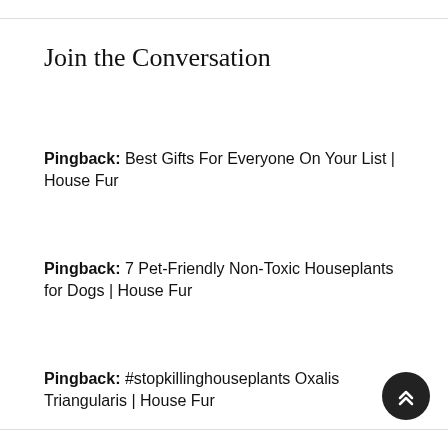Join the Conversation
Pingback: Best Gifts For Everyone On Your List | House Fur
Pingback: 7 Pet-Friendly Non-Toxic Houseplants for Dogs | House Fur
Pingback: #stopkillinghouseplants Oxalis Triangularis | House Fur